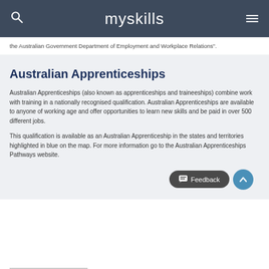myskills
the Australian Government Department of Employment and Workplace Relations".
Australian Apprenticeships
Australian Apprenticeships (also known as apprenticeships and traineeships) combine work with training in a nationally recognised qualification. Australian Apprenticeships are available to anyone of working age and offer opportunities to learn new skills and be paid in over 500 different jobs.
This qualification is available as an Australian Apprenticeship in the states and territories highlighted in blue on the map. For more information go to the Australian Apprenticeships Pathways website.